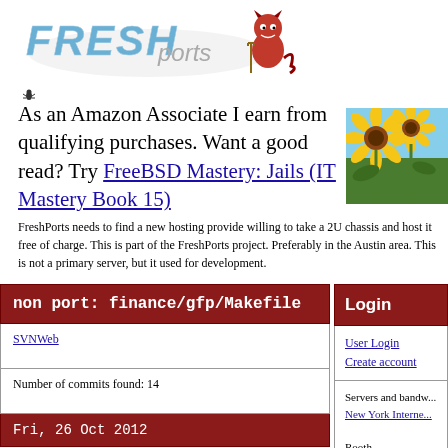[Figure (logo): FreshPorts logo with stylized text and BSD devil mascot]
[Figure (illustration): Small bug/ant icon]
As an Amazon Associate I earn from qualifying purchases. Want a good read? Try FreeBSD Mastery: Jails (IT Mastery Book 15)
[Figure (photo): Sunflowers in a field against blue sky]
FreshPorts needs to find a new hosting provide willing to take a 2U chassis and host it free of charge. This is part of the FreshPorts project. Preferably in the Austin area. This is not a primary server, but it used for development.
non port: finance/gfp/Makefile
SVNWeb
Number of commits found: 14
Fri, 26 Oct 2012
Login
User Login
Create account
Servers and bandw...
New York Interne...
Rooth...